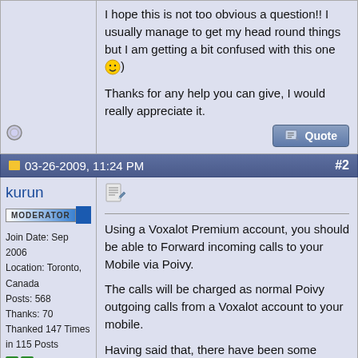I hope this is not too obvious a question!! I usually manage to get my head round things but I am getting a bit confused with this one :) )
Thanks for any help you can give, I would really appreciate it.
03-26-2009, 11:24 PM  #2
kurun
MODERATOR
Join Date: Sep 2006
Location: Toronto, Canada
Posts: 568
Thanks: 70
Thanked 147 Times in 115 Posts
Using a Voxalot Premium account, you should be able to Forward incoming calls to your Mobile via Poivy.
The calls will be charged as normal Poivy outgoing calls from a Voxalot account to your mobile.
Having said that, there have been some issues reported